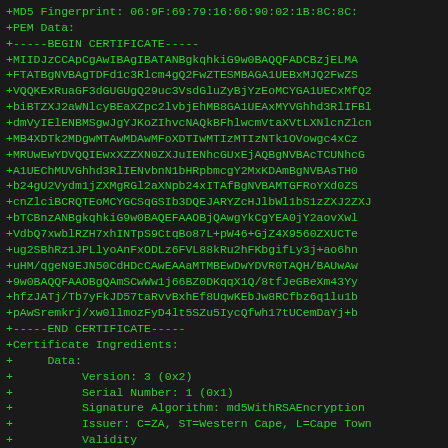+MD5 Fingerprint: 06:9F:69:79:16:66:90:02:1B:8C:8C:
+PEM Data:
+-----BEGIN CERTIFICATE-----
+MIIDJzCCApCgAwIBAgIBATANBgkqhkiG9w0BAQQFADCBzjELMA
+FTATBgNVBAgTDFd1c3Rlcm4gQ2FwZTESMBAGA1UEBxMJQ2FwZS
+VQQKExRuaGF3dGUGUgQ29uc3VsdGluZyBjYzEoMCYGA1UECxMfQ2
+biBTZXJ2aWNlcyBEaXZpc2lvbjEhMB8GA1UEAxMYVGhhd3RlIFBl
+dmVyIElENBMSgwJgYJKoZIhvcNAQkBFhlwcmVtaXVtLXNlcnZlcn
+MB4XDTk2MDgwMTAwMDAwMFoXDTIwMTIzMTIzNTk1OVowgc4xCz
+MRUwEwYDVQQIEwxXZZXN0ZXJuIENhcGUxEjAQBgNVBAcTCUNhcG
+A1UEChMUVGhhd3RlIENvbnN1bHRpbmcgY2MxKDAmBgNVBAsTH0
+b24gU2Vydm1jZXMgRGl2aXNpb24xITAfBgNVBAMTGFRoYXd0ZS
+cnZlciBCRQTEoMCYGCSqGSIb3DQEJARYZcHJlbWl1bS1zZXJ2ZXJ
+bTCBnzANBgkqhkiG9w0BAQEFAAOBjQAwgYkCgYEA0jY2aovXwl
+VdbQ7xwblRZH7xhINTpS9CtqBo87L+pW46+GjZ4X9560ZXUCTe
+ug2SBhRz1JPLlyoAnFxODLz6FVL88kRu2hFKbgifLy3j+ao6hn
+uHM/qgeN9EJN50CdHDcCAwEAAaMTMBEwDwYDVR0TAQH/BAUwAw
+9w0BAQQFAAOBgQAmSCwWw1j66BZ0DKqqX1Q/8tfJeGBeXm43Yy
+hfzJATj/Tb7yFkJD57taRvvBxhEf8UqwKEbJw8RCfbz6q1lu1b
+pAwSremkrj/xw0llmozFyD4lt5SZu5IycQfwh17tUCemDaYj+b
+-----END CERTIFICATE-----
+Certificate Ingredients:
+     Data:
+          Version: 3 (0x2)
+          Serial Number: 1 (0x1)
+          Signature Algorithm: md5WithRSAEncryption
+          Issuer: C=ZA, ST=Western Cape, L=Cape Town
+          Validity
+               Not Before: Aug  1 00:00:00 1996 GMT
+               Not After : Dec 31 23:59:59 2020 GMT